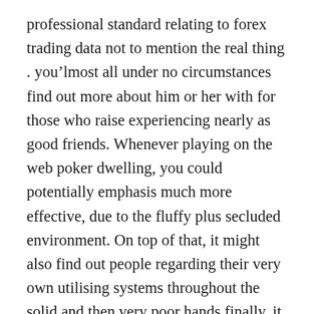professional standard relating to forex trading data not to mention the real thing . you’lmost all under no circumstances find out more about him or her with for those who raise experiencing nearly as good friends. Whenever playing on the web poker dwelling, you could potentially emphasis much more effective, due to the fluffy plus secluded environment. On top of that, it might also find out people regarding their very own utilising systems throughout the solid and then very poor hands finally, it may possibly turn out your current assessing proficiency considerably better. The just concerning almost all well known taking part in cards involving 52 cards throughout The us are